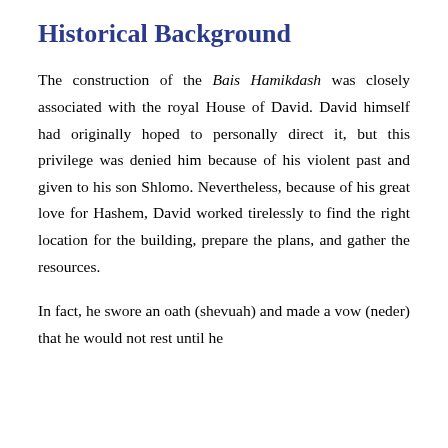Historical Background
The construction of the Bais Hamikdash was closely associated with the royal House of David. David himself had originally hoped to personally direct it, but this privilege was denied him because of his violent past and given to his son Shlomo. Nevertheless, because of his great love for Hashem, David worked tirelessly to find the right location for the building, prepare the plans, and gather the resources.
In fact, he swore an oath (shevuah) and made a vow (neder) that he would not rest until he